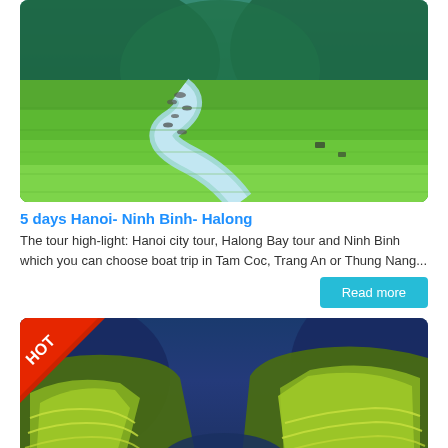[Figure (photo): Aerial view of Ninh Binh Vietnam with winding river through green rice paddies and forested karst mountains in the background, with boats visible on the river]
5 days Hanoi- Ninh Binh- Halong
The tour high-light: Hanoi city tour, Halong Bay tour and Ninh Binh which you can choose boat trip in Tam Coc, Trang An or Thung Nang...
Read more
[Figure (photo): Aerial view of terraced rice fields on steep hillsides in northern Vietnam (likely Mu Cang Chai or Ha Giang), showing bright yellow-green terraces with a river valley below and dramatic mountain scenery, with a HOT badge in the top-left corner]